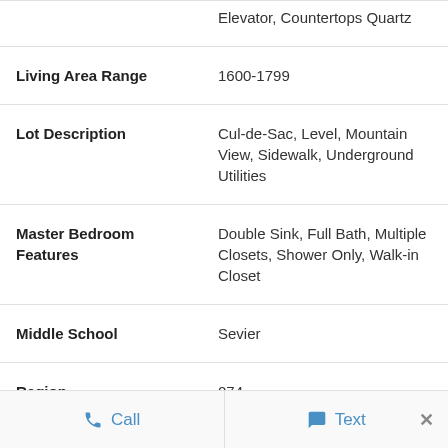| Field | Value |
| --- | --- |
|  | Elevator, Countertops Quartz |
| Living Area Range | 1600-1799 |
| Lot Description | Cul-de-Sac, Level, Mountain View, Sidewalk, Underground Utilities |
| Master Bedroom Features | Double Sink, Full Bath, Multiple Closets, Shower Only, Walk-in Closet |
| Middle School | Sevier |
| Region | 074 |
| Roof | Other |
Call   Text   ×